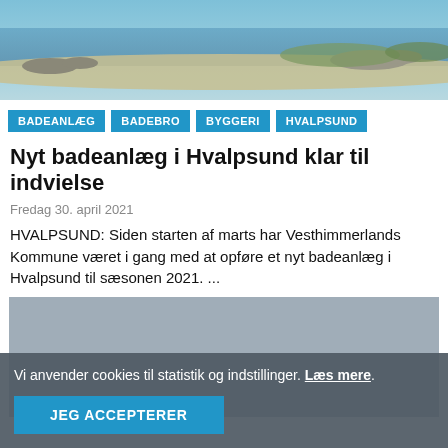[Figure (photo): Coastal scene with water, rocky shoreline, and green vegetation in the background]
BADEANLÆG  BADEBRO  BYGGERI  HVALPSUND
Nyt badeanlæg i Hvalpsund klar til indvielse
Fredag 30. april 2021
HVALPSUND: Siden starten af marts har Vesthimmerlands Kommune været i gang med at opføre et nyt badeanlæg i Hvalpsund til sæsonen 2021. ...
[Figure (photo): Second photo, mostly grey/blue sky]
Vi anvender cookies til statistik og indstillinger. Læs mere.
JEG ACCEPTERER